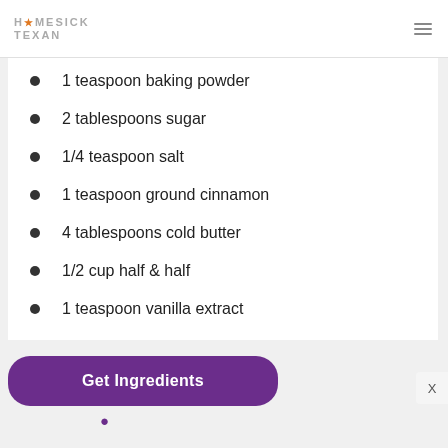HOMESICK TEXAN
1 teaspoon baking powder
2 tablespoons sugar
1/4 teaspoon salt
1 teaspoon ground cinnamon
4 tablespoons cold butter
1/2 cup half & half
1 teaspoon vanilla extract
Get Ingredients